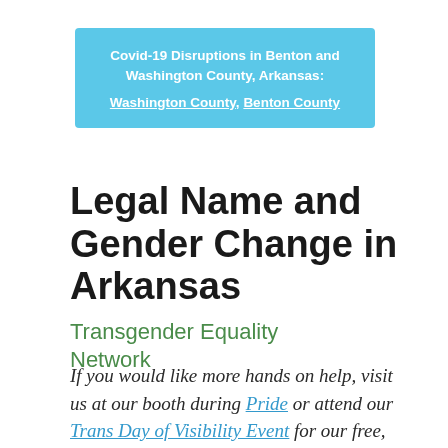Covid-19 Disruptions in Benton and Washington County, Arkansas: Washington County , Benton County
Legal Name and Gender Change in Arkansas
Transgender Equality Network
If you would like more hands on help, visit us at our booth during Pride or attend our Trans Day of Visibility Event for our free,